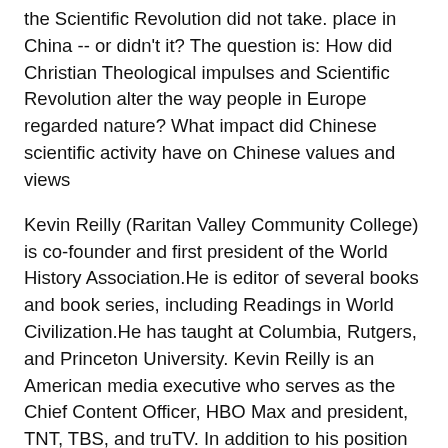the Scientific Revolution did not take. place in China -- or didn't it? The question is: How did Christian Theological impulses and Scientific Revolution alter the way people in Europe regarded nature? What impact did Chinese scientific activity have on Chinese values and views
Kevin Reilly (Raritan Valley Community College) is co-founder and first president of the World History Association.He is editor of several books and book series, including Readings in World Civilization.He has taught at Columbia, Rutgers, and Princeton University. Kevin Reilly is an American media executive who serves as the Chief Content Officer, HBO Max and president, TNT, TBS, and truTV. In addition to his position